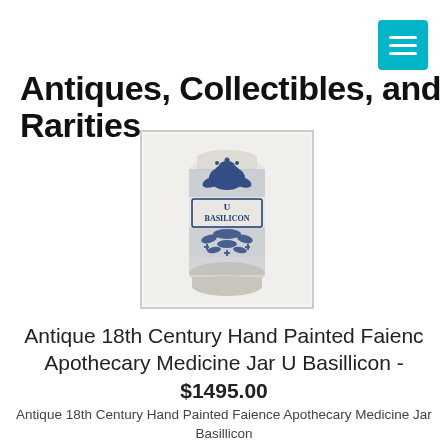Antiques, Collectibles, and Rarities
[Figure (photo): Antique blue-and-white faience ceramic apothecary jar with label reading 'U BASILICON', decorated with floral motifs in navy blue on a cream/white background.]
Antique 18th Century Hand Painted Faience Apothecary Medicine Jar U Basillicon - $1495.00
Antique 18th Century Hand Painted Faience Apothecary Medicine Jar U Basillicon